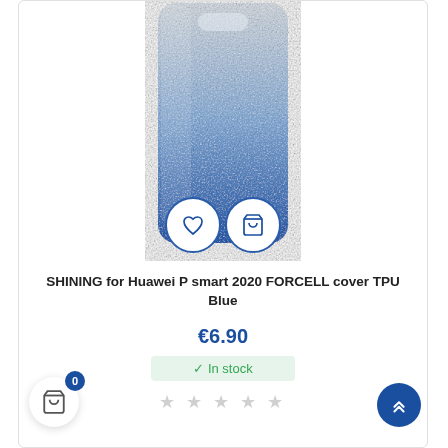[Figure (photo): A Huawei P smart 2020 phone case with blue-to-silver gradient shiny TPU cover, viewed from the back. Two circular icon buttons appear at the bottom: a heart (wishlist) and a shopping cart.]
SHINING for Huawei P smart 2020 FORCELL cover TPU Blue
€6.90
✓ In stock
★★★★★ (empty stars rating)